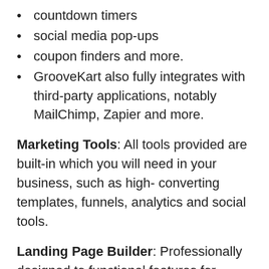countdown timers
social media pop-ups
coupon finders and more.
GrooveKart also fully integrates with third-party applications, notably MailChimp, Zapier and more.
Marketing Tools: All tools provided are built-in which you will need in your business, such as high- converting templates, funnels, analytics and social tools.
Landing Page Builder: Professionally designed to functional features for higher clicks and conversions